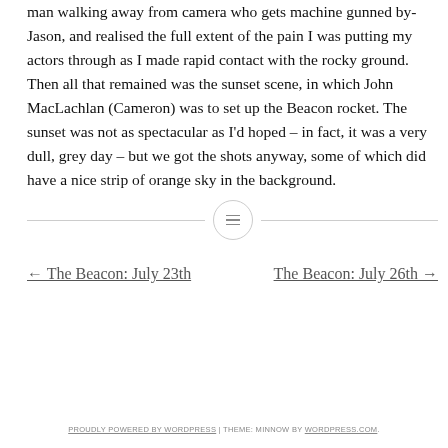man walking away from camera who gets machine gunned by-Jason, and realised the full extent of the pain I was putting my actors through as I made rapid contact with the rocky ground. Then all that remained was the sunset scene, in which John MacLachlan (Cameron) was to set up the Beacon rocket. The sunset was not as spectacular as I'd hoped – in fact, it was a very dull, grey day – but we got the shots anyway, some of which did have a nice strip of orange sky in the background.
[Figure (other): Horizontal divider with a circle containing a menu/lines icon in the center]
← The Beacon: July 23th    The Beacon: July 26th →
PROUDLY POWERED BY WORDPRESS | THEME: MINNOW BY WORDPRESS.COM.